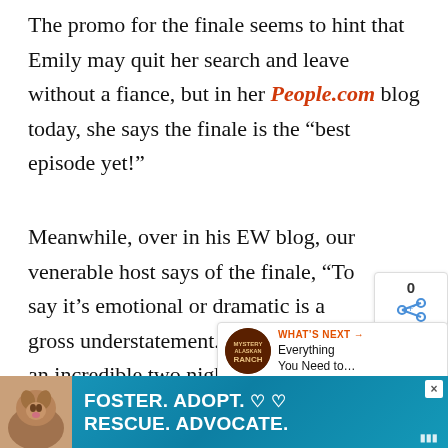The promo for the finale seems to hint that Emily may quit her search and leave without a fiance, but in her People.com blog today, she says the finale is the “best episode yet!”
Meanwhile, over in his EW blog, our venerable host says of the finale, “To say it’s emotional or dramatic is a gross understatement. It’s going to be an incredible two nights with the finale followed by the opening of the Pad.”
Here’s that finale promo again, to watch and
[Figure (infographic): Share widget showing count 0 and a share icon]
[Figure (infographic): What's Next promotional widget: Mystery Ranch logo circle, label 'WHAT'S NEXT ->', text 'Everything You Need to...']
[Figure (infographic): Ad banner: dog photo on left, teal background, text 'FOSTER. ADOPT. hearts RESCUE. ADVOCATE.' with close X button and small logo bottom right]